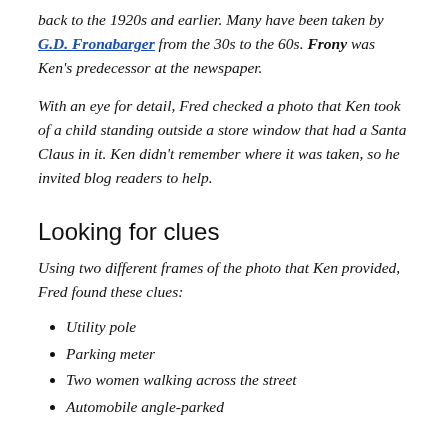back to the 1920s and earlier. Many have been taken by G.D. Fronabarger from the 30s to the 60s. Frony was Ken's predecessor at the newspaper.
With an eye for detail, Fred checked a photo that Ken took of a child standing outside a store window that had a Santa Claus in it. Ken didn't remember where it was taken, so he invited blog readers to help.
Looking for clues
Using two different frames of the photo that Ken provided, Fred found these clues:
Utility pole
Parking meter
Two women walking across the street
Automobile angle-parked